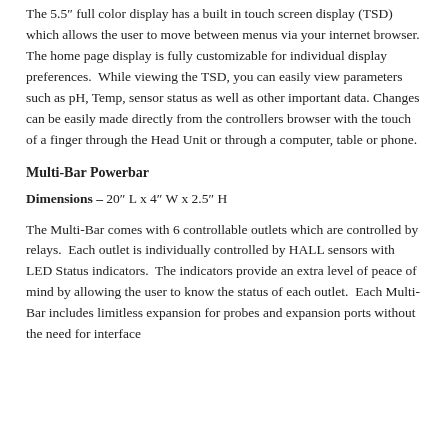The 5.5" full color display has a built in touch screen display (TSD) which allows the user to move between menus via your internet browser. The home page display is fully customizable for individual display preferences.  While viewing the TSD, you can easily view parameters such as pH, Temp, sensor status as well as other important data. Changes can be easily made directly from the controllers browser with the touch of a finger through the Head Unit or through a computer, table or phone.
Multi-Bar Powerbar
Dimensions – 20″ L x 4″ W x 2.5″ H
The Multi-Bar comes with 6 controllable outlets which are controlled by relays.  Each outlet is individually controlled by HALL sensors with LED Status indicators.  The indicators provide an extra level of peace of mind by allowing the user to know the status of each outlet.  Each Multi-Bar includes limitless expansion for probes and expansion ports without the need for interface